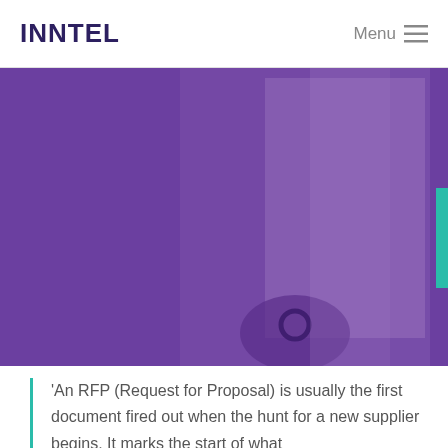INNTEL   Menu
[Figure (illustration): Abstract purple background image with overlapping geometric shapes — rectangles and rounded forms — in shades of deep purple, lavender, and a teal accent strip on the right edge.]
'An RFP (Request for Proposal) is usually the first document fired out when the hunt for a new supplier begins. It marks the start of what